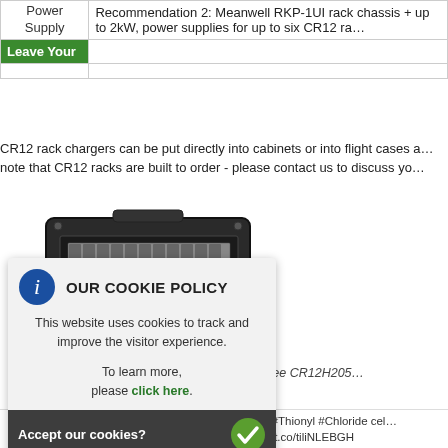|  |  |
| --- | --- |
| Power Supply | Recommendation 2: Meanwell RKP-1UI rack chassis + up to 2kW, power supplies for up to six CR12 ra... |
| Leave Your |  |
CR12 rack chargers can be put directly into cabinets or into flight cases a... note that CR12 racks are built to order - please contact us to discuss yo...
[Figure (photo): A rack-mounted CR12H charger system in a flight case/rack enclosure, showing multiple charging slots.]
Example: Three CR12H205...
OUR COOKIE POLICY
This website uses cookies to track and improve the visitor experience.
To learn more, please click here.
Accept our cookies?
...ntaining #Lithium #Thionyl #Chloride cel... written... https://t.co/tiliNLEBGH